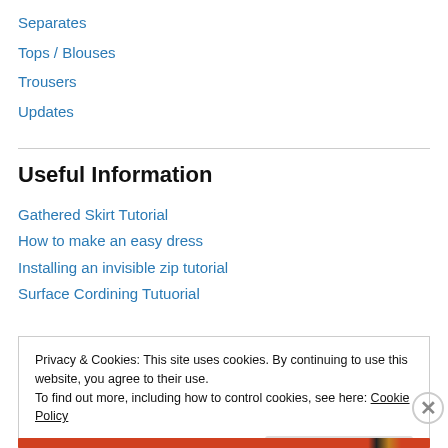Separates
Tops / Blouses
Trousers
Updates
Useful Information
Gathered Skirt Tutorial
How to make an easy dress
Installing an invisible zip tutorial
Surface Cordining Tutuorial
Privacy & Cookies: This site uses cookies. By continuing to use this website, you agree to their use.
To find out more, including how to control cookies, see here: Cookie Policy
Close and accept